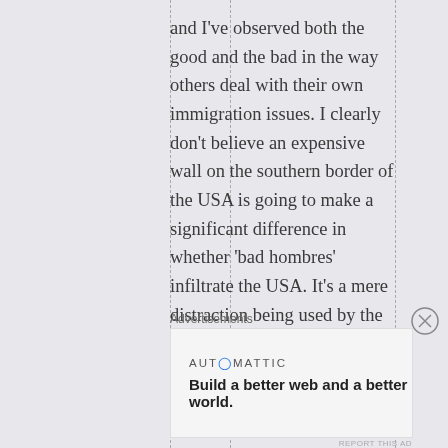and I've observed both the good and the bad in the way others deal with their own immigration issues. I clearly don't believe an expensive wall on the southern border of the USA is going to make a significant difference in whether 'bad hombres' infiltrate the USA. It's a mere distraction being used by the Trump administration to divert the attention of citizens from American's more important issues such as
Advertisements
[Figure (other): Automattic advertisement banner: 'Build a better web and a better world.']